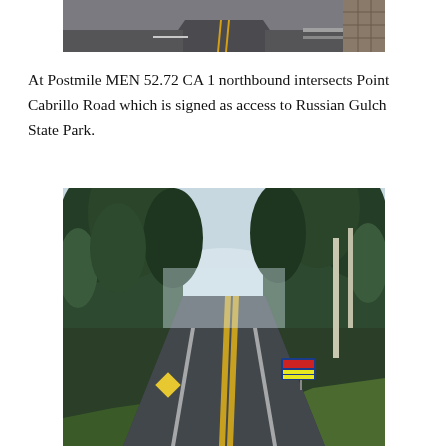[Figure (photo): Photograph of a two-lane road (CA 1) viewed from a vehicle, showing the road surface with a yellow center line, guardrails on the right, and the road disappearing ahead. Partial top portion visible.]
At Postmile MEN 52.72 CA 1 northbound intersects Point Cabrillo Road which is signed as access to Russian Gulch State Park.
[Figure (photo): Photograph of CA 1 (Highway 1) northbound, a two-lane road lined with tall conifer and deciduous trees on both sides, disappearing into foggy distance. A road sign is visible on the right side. Green grass visible on the right shoulder.]